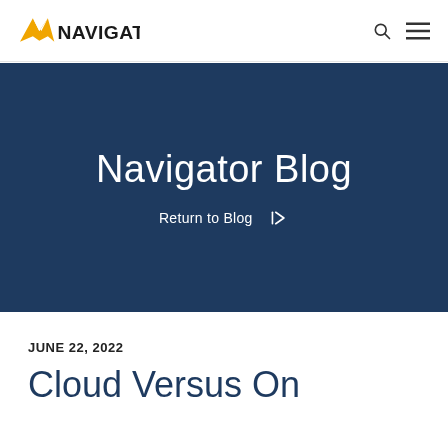NAVIGATOR
Navigator Blog
Return to Blog →
JUNE 22, 2022
Cloud Versus On…